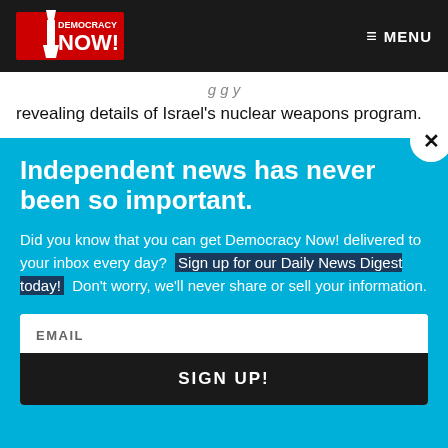Democracy Now! [logo] MENU
revealing details of Israel's nuclear weapons program.
Independent news has never been so important.
Did you know that you can get Democracy Now! delivered to your inbox every day? Sign up for our Daily News Digest today! Don't worry, we'll never share or sell your information.
EMAIL
SIGN UP!